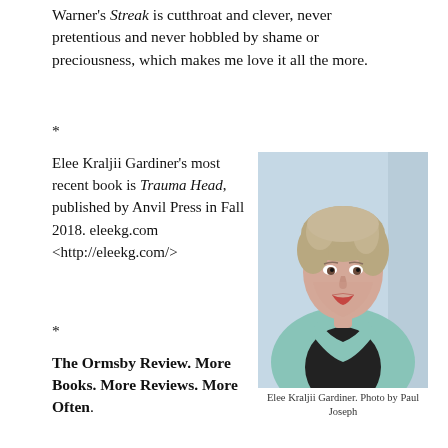Warner's Streak is cutthroat and clever, never pretentious and never hobbled by shame or preciousness, which makes me love it all the more.
*
Elee Kraljii Gardiner's most recent book is Trauma Head, published by Anvil Press in Fall 2018. eleekg.com <http://eleekg.com/>
[Figure (photo): Portrait photograph of Elee Kraljii Gardiner, a woman with short curly blonde-grey hair, red lipstick, wearing a light teal/mint blazer over a dark striped top, against a light blue-grey background.]
Elee Kraljii Gardiner. Photo by Paul Joseph
*
The Ormsby Review. More Books. More Reviews. More Often.